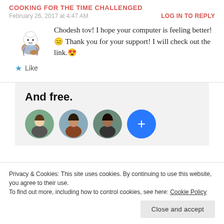COOKING FOR THE TIME CHALLENGED
February 26, 2017 at 4:47 AM
LOG IN TO REPLY
Chodesh tov! I hope your computer is feeling better! 😑 Thank you for your support! I will check out the link. 😍
★ Like
[Figure (illustration): Chef cartoon mascot illustration]
And free.
[Figure (photo): Three circular profile photos of people and a blue plus button]
Privacy & Cookies: This site uses cookies. By continuing to use this website, you agree to their use. To find out more, including how to control cookies, see here: Cookie Policy
Close and accept